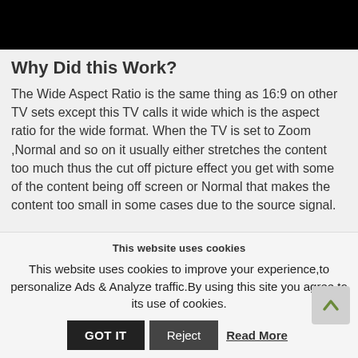[Figure (photo): Black banner image at the top of the page]
Why Did this Work?
The Wide Aspect Ratio is the same thing as 16:9 on other TV sets except this TV calls it wide which is the aspect ratio for the wide format. When the TV is set to Zoom ,Normal and so on it usually either stretches the content too much thus the cut off picture effect you get with some of the content being off screen or Normal that makes the content too small in some cases due to the source signal.
This website uses cookies
This website uses cookies to improve your experience,to personalize Ads & Analyze traffic.By using this site you agree to its use of cookies.